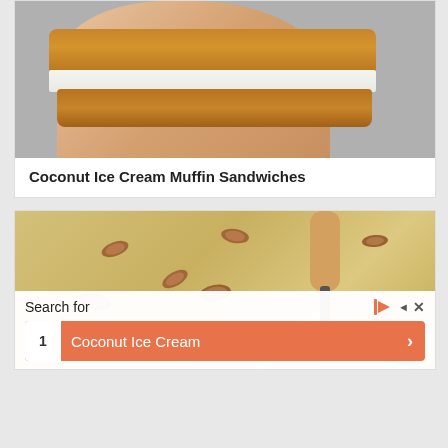[Figure (photo): A hand holding a coconut ice cream muffin sandwich — two slices of toasted golden-brown bread with white ice cream in between]
Coconut Ice Cream Muffin Sandwiches
[Figure (photo): Overhead view of a baking pan with golden dough/batter topped with pecan nuts, with a knife/spatula visible. An advertisement overlay shows 'Search for' with a result for 'Coconut Ice Cream']